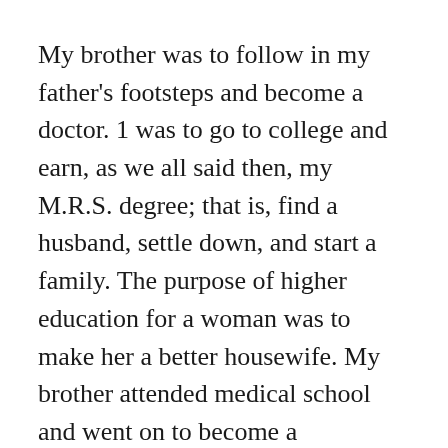My brother was to follow in my father's footsteps and become a doctor. 1 was to go to college and earn, as we all said then, my M.R.S. degree; that is, find a husband, settle down, and start a family. The purpose of higher education for a woman was to make her a better housewife. My brother attended medical school and went on to become a psychiatrist; it took me two major universities in two states to do it, but I eventually found a husband—oddly enough, a professor, like Jo March's husband! We settled down, and raised a family. But I also became a writer. That I